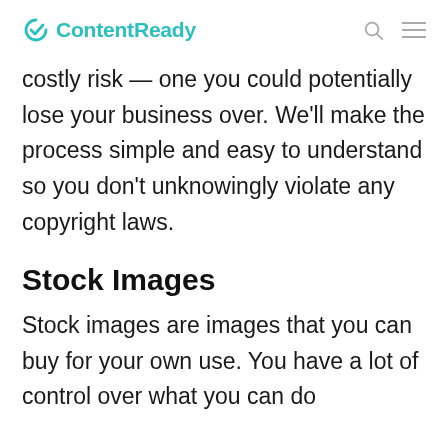ContentReady
costly risk — one you could potentially lose your business over. We'll make the process simple and easy to understand so you don't unknowingly violate any copyright laws.
Stock Images
Stock images are images that you can buy for your own use. You have a lot of control over what you can do